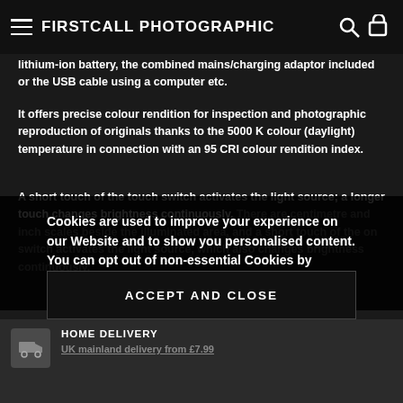FIRSTCALL PHOTOGRAPHIC
lithium-ion battery, the combined mains/charging adaptor included or the USB cable using a computer etc.
It offers precise colour rendition for inspection and photographic reproduction of originals thanks to the 5000 K colour (daylight) temperature in connection with an 95 CRI colour rendition index.
A short touch of the touch switch activates the light source; a longer touch changes brightness continuously. There are centimetre and inch scales beside the illuminated area, and a short touch of the on switch activates the light source, which also changes brightness continuously.
Cookies are used to improve your experience on our Website and to show you personalised content. You can opt out of non-essential Cookies by clicking here.
ACCEPT AND CLOSE
HOME DELIVERY
UK mainland delivery from £7.99